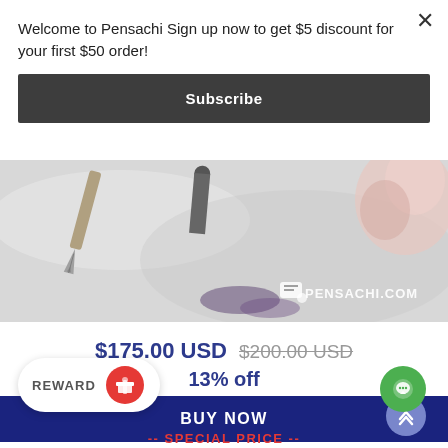Welcome to Pensachi Sign up now to get $5 discount for your first $50 order!
Subscribe
[Figure (photo): Product photo of fountain pens and writing accessories on a light marble surface, with PENSACHI.COM watermark logo in the lower right]
$175.00 USD  $200.00 USD  13% off
BUY NOW
REWARD
-- SPECIAL PRICE --